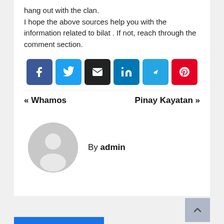hang out with the clan.
I hope the above sources help you with the information related to bilat . If not, reach through the comment section.
[Figure (infographic): Row of six social sharing icon buttons: Facebook (dark blue), Twitter (light blue), Email (black), LinkedIn (blue), Telegram (cyan-blue), Pinterest (red)]
« Whamos    Pinay Kayatan »
By admin
[Figure (illustration): Default user avatar: grey circle with silhouette of a person (head and shoulders)]